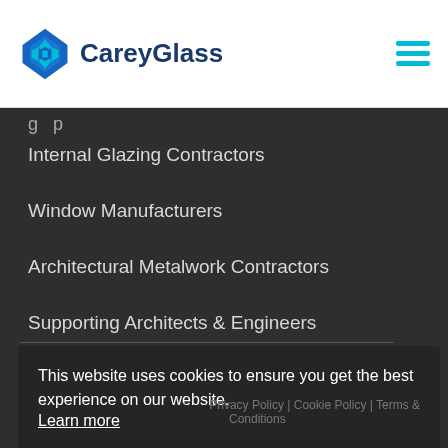[Figure (logo): Carey Glass logo with blue diamond shape and text CareyGlass]
Internal Glazing Contractors
Window Manufacturers
Architectural Metalwork Contractors
Supporting Architects & Engineers
This website uses cookies to ensure you get the best experience on our website.
Learn more
Decline
Got it!
2021 careyglass Privacy Policy | Cookie Policy | Terms & Conditions
Comms and Site by C...